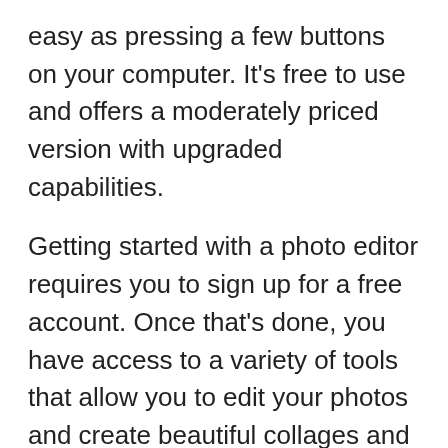easy as pressing a few buttons on your computer. It's free to use and offers a moderately priced version with upgraded capabilities.
Getting started with a photo editor requires you to sign up for a free account. Once that's done, you have access to a variety of tools that allow you to edit your photos and create beautiful collages and images using their large selection of templates.
With this photo editor, you can easily change the contrast and color of multiple items of